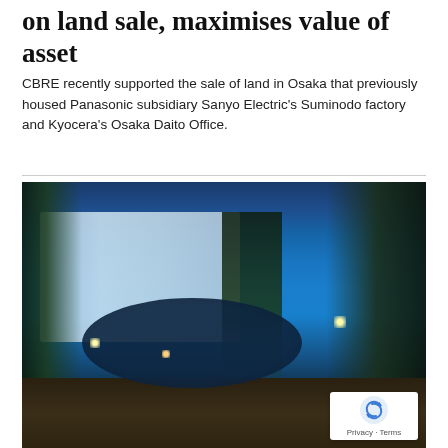on land sale, maximises value of asset
CBRE recently supported the sale of land in Osaka that previously housed Panasonic subsidiary Sanyo Electric's Suminodo factory and Kyocera's Osaka Daito Office.
[Figure (photo): Twilight/dusk photograph of a modern building with glass facade, surrounded by trees, with a reflective pond in the foreground and warm accent lighting. The scene is set in a landscaped corporate campus in Osaka, Japan.]